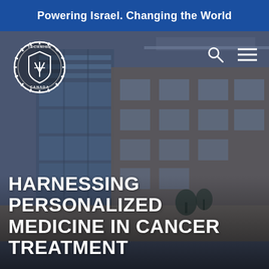Powering Israel. Changing the World
[Figure (photo): Aerial/street-level photograph of a modern multi-story academic or medical building complex with glass and stone facade, viewed from below against a partly cloudy sky. The image has a blue-grey tone overlay.]
[Figure (logo): Technion Canada circular logo in white — a shield/crest emblem with gear border and text 'TECHNION' at top and 'CANADA' at bottom]
HARNESSING PERSONALIZED MEDICINE IN CANCER TREATMENT